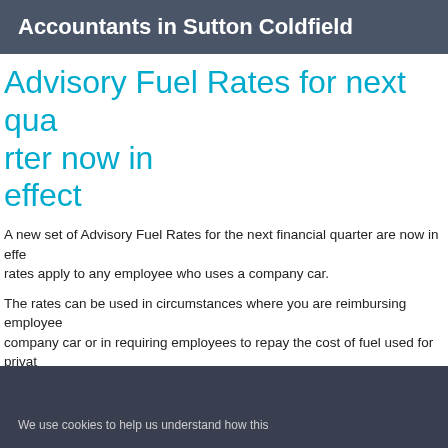Accountants in Sutton Coldfield
Advisory Fuel Rates for next quarter now in effect
A new set of Advisory Fuel Rates for the next financial quarter are now in effect. These rates apply to any employee who uses a company car.
The rates can be used in circumstances where you are reimbursing employees for fuel used in a company car or in requiring employees to repay the cost of fuel used for private travel. If you use them, you will not need to seek a dispensation to cover the payments.
The new rates are:
| Engine size | Petrol – amount per mile | LPG – amount per mile |
| --- | --- | --- |
We use cookies to help us understand how this